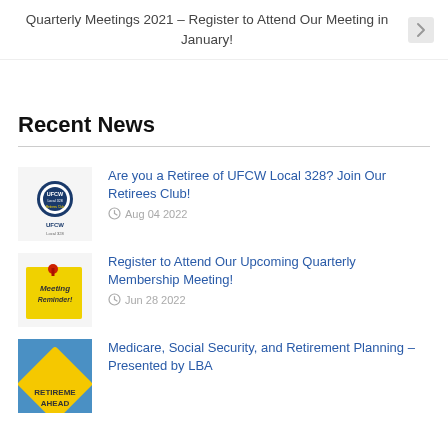Quarterly Meetings 2021 – Register to Attend Our Meeting in January!
Recent News
Are you a Retiree of UFCW Local 328? Join Our Retirees Club! Aug 04 2022
Register to Attend Our Upcoming Quarterly Membership Meeting! Jun 28 2022
Medicare, Social Security, and Retirement Planning – Presented by LBA